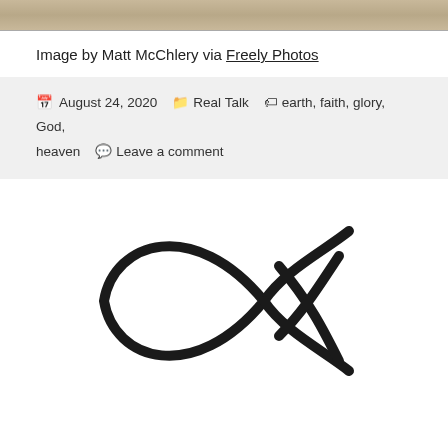[Figure (photo): Partial view of a photo of a wooden surface, shown as a cropped strip at the top of the page]
Image by Matt McChlery via Freely Photos
August 24, 2020  Real Talk  earth, faith, glory, God, heaven  Leave a comment
[Figure (illustration): Christian ichthys fish symbol (Jesus fish) drawn in black outline on white background]